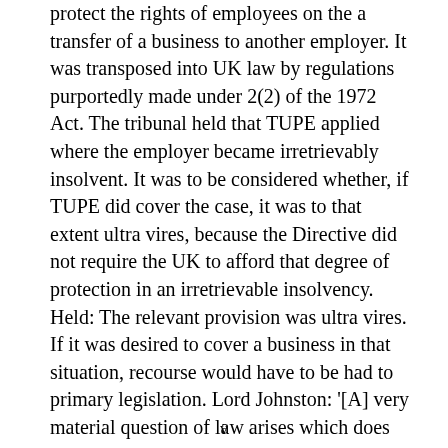protect the rights of employees on the a transfer of a business to another employer. It was transposed into UK law by regulations purportedly made under 2(2) of the 1972 Act. The tribunal held that TUPE applied where the employer became irretrievably insolvent. It was to be considered whether, if TUPE did cover the case, it was to that extent ultra vires, because the Directive did not require the UK to afford that degree of protection in an irretrievable insolvency.
Held: The relevant provision was ultra vires. If it was desired to cover a business in that situation, recourse would have to be had to primary legislation. Lord Johnston: '[A] very material question of law arises which does not seem to have
v